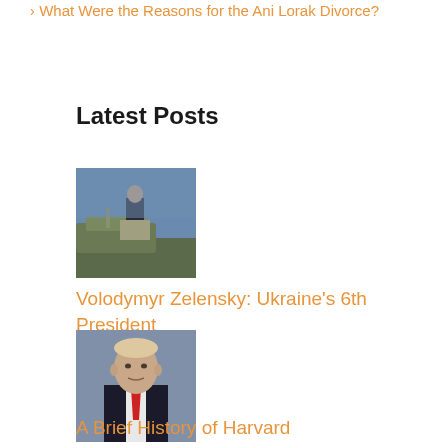What Were the Reasons for the Ani Lorak Divorce?
Latest Posts
[Figure (photo): Photo of Volodymyr Zelensky at a podium with military equipment in background]
Volodymyr Zelensky: Ukraine's 6th President
[Figure (photo): Photo of Vladimir Putin at a formal event wearing a dark suit and red tie]
Vladimir Putin: Life, Influence and Power
A Brief History of Harvard